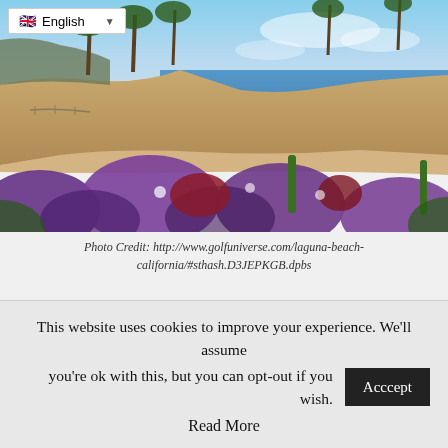[Figure (photo): Coastal view of Laguna Beach, California, with purple wildflowers in the foreground, sandy cliffs, palm trees, and the Pacific Ocean in the background. A language selector showing 'English' overlays the top-left corner of the photo.]
Photo Credit: http://www.golfuniverse.com/laguna-beach-california/#sthash.D3JEPKGB.dpbs
Laguna Beach is one of the most popular coastal locations in California. It's the perfect place for a family vacation or a solo trip to relax on your own. Whatever kind of break you might
This website uses cookies to improve your experience. We'll assume you're ok with this, but you can opt-out if you wish.
Read More